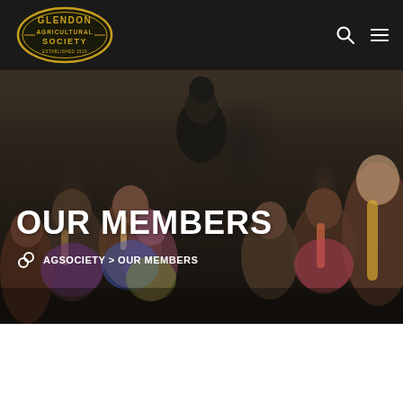[Figure (logo): Glendon Agricultural Society logo — oval black badge with gold text reading GLENDON AGRICULTURAL SOCIETY, established 1919]
[Figure (photo): Group of children and adults in an indoor setting, viewed from behind, gathering around a person in black standing in the center, dark overlay applied]
OUR MEMBERS
AGSOCIETY > OUR MEMBERS